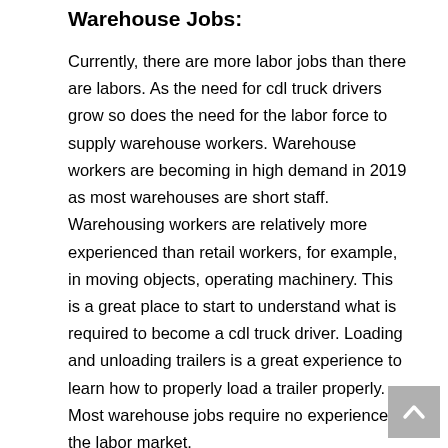Warehouse Jobs:
Currently, there are more labor jobs than there are labors. As the need for cdl truck drivers grow so does the need for the labor force to supply warehouse workers. Warehouse workers are becoming in high demand in 2019 as most warehouses are short staff. Warehousing workers are relatively more experienced than retail workers, for example, in moving objects, operating machinery. This is a great place to start to understand what is required to become a cdl truck driver. Loading and unloading trailers is a great experience to learn how to properly load a trailer properly. Most warehouse jobs require no experience in the labor market.